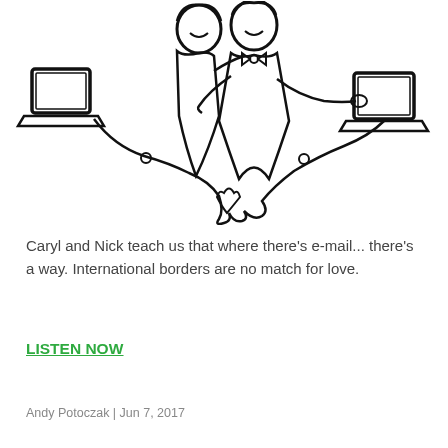[Figure (illustration): Black and white line drawing illustration of a couple (woman and man in formal wear/tuxedo) embracing, with laptop computers on either side connected by a curvy line with a heart shape at the bottom, suggesting an online/email romance across distance.]
Caryl and Nick teach us that where there's e-mail... there's a way. International borders are no match for love.
LISTEN NOW
Andy Potoczak | Jun 7, 2017